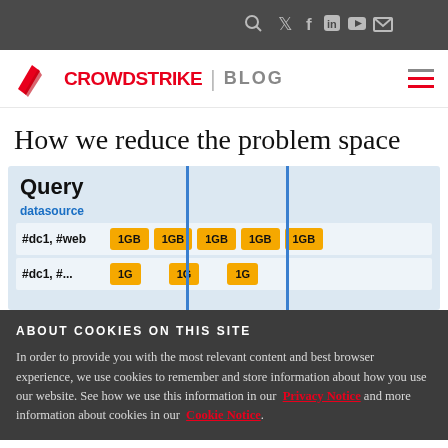CrowdStrike | BLOG
How we reduce the problem space
[Figure (infographic): Diagram showing a Query panel with datasource '#dc1, #web' and multiple 1GB data chunk chips in yellow/gold color, with two blue vertical lines dividing the chunks. A partial second row is visible at the bottom.]
ABOUT COOKIES ON THIS SITE
In order to provide you with the most relevant content and best browser experience, we use cookies to remember and store information about how you use our website. See how we use this information in our Privacy Notice and more information about cookies in our Cookie Notice.